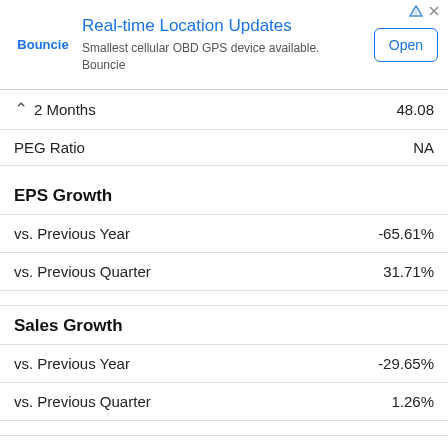[Figure (other): Advertisement banner for Bouncie app: 'Real-time Location Updates - Smallest cellular OBD GPS device available. Bouncie' with an Open button]
2 Months   48.08
PEG Ratio   NA
EPS Growth
vs. Previous Year   -65.61%
vs. Previous Quarter   31.71%
Sales Growth
vs. Previous Year   -29.65%
vs. Previous Quarter   1.26%
Price Ratios
Price/Book   1.90